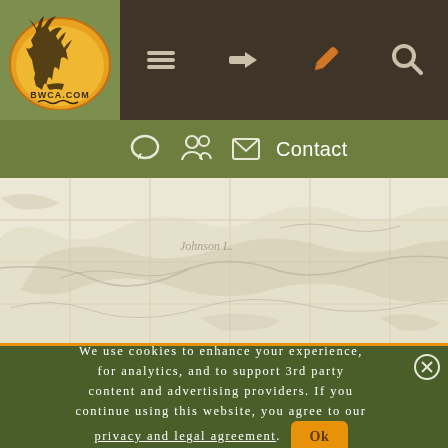[Figure (logo): BWCA.com logo with moose silhouette on yellow/orange circle with olive green background]
[Figure (screenshot): Navigation bar with hamburger menu, login arrow, pencil/edit, and search icons on dark brown background]
[Figure (screenshot): Sub-navigation bar with chat bubble, group/people icon, envelope icon and Contact text on olive green background]
[Figure (map): Topographic/canoe map background showing lakes and waterways, cream/beige colored]
We use cookies to enhance your experience, for analytics, and to support 3rd party content and advertising providers. If you continue using this website, you agree to our privacy and legal agreement. Ok